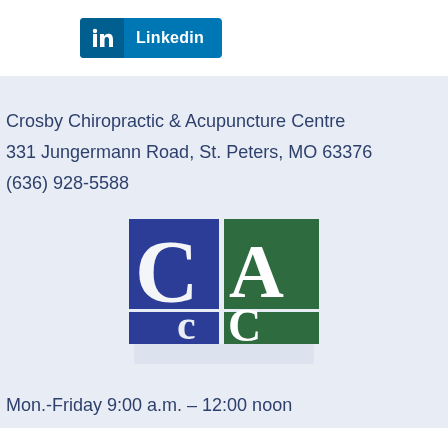[Figure (logo): LinkedIn button with 'in' icon on left and 'Linkedin' text on right, blue background]
Crosby Chiropractic & Acupuncture Centre
331 Jungermann Road, St. Peters, MO 63376
(636) 928-5588
[Figure (logo): CCAC logo: blue and green squares with large white letters C, A, C arranged in a grid pattern]
Mon.-Friday 9:00 a.m. – 12:00 noon